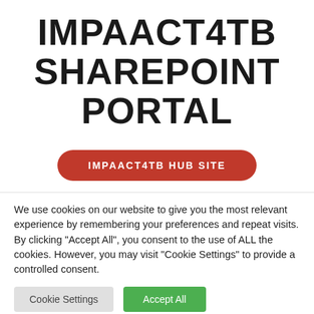IMPAACT4TB SHAREPOINT PORTAL
IMPAACT4TB HUB SITE
We use cookies on our website to give you the most relevant experience by remembering your preferences and repeat visits. By clicking "Accept All", you consent to the use of ALL the cookies. However, you may visit "Cookie Settings" to provide a controlled consent.
Cookie Settings
Accept All